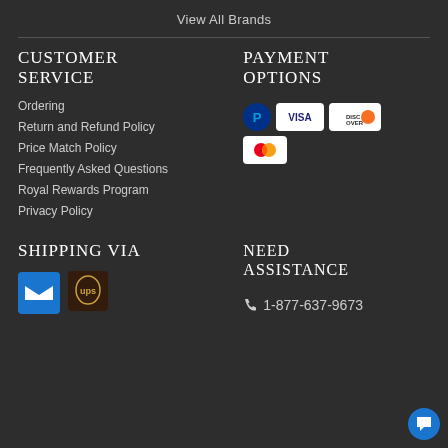View All Brands
CUSTOMER SERVICE
PAYMENT OPTIONS
Ordering
Return and Refund Policy
Price Match Policy
Frequently Asked Questions
Royal Rewards Program
Privacy Policy
[Figure (logo): Payment icons: PayPal, Visa, Discover, Mastercard]
SHIPPING VIA
NEED ASSISTANCE
[Figure (logo): USPS and UPS shipping logos]
1-877-637-9673